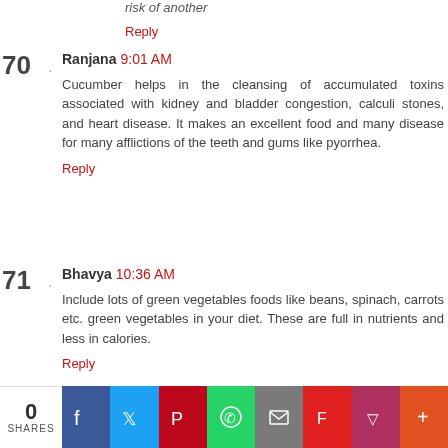risk of another
Reply
Ranjana  9:01 AM
Cucumber helps in the cleansing of accumulated toxins associated with kidney and bladder congestion, calculi stones, and heart disease. It makes an excellent food and many disease for many afflictions of the teeth and gums like pyorrhea.
Reply
Bhavya  10:36 AM
Include lots of green vegetables foods like beans, spinach, carrots etc. green vegetables in your diet. These are full in nutrients and less in calories.
Reply
0 SHARES